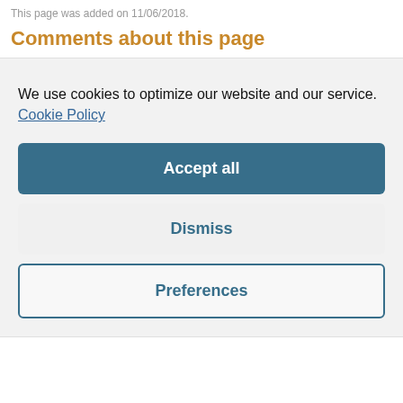This page was added on 11/06/2018.
Comments about this page
We use cookies to optimize our website and our service.  Cookie Policy
Accept all
Dismiss
Preferences